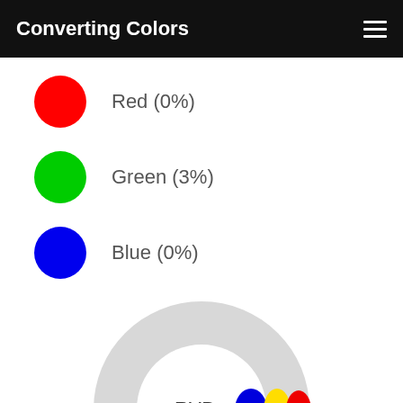Converting Colors
Red (0%)
Green (3%)
Blue (0%)
[Figure (donut-chart): RYB color wheel donut chart with three small ellipses (blue, yellow, red) near the right side of the inner circle, labeled 'RYB' in the center.]